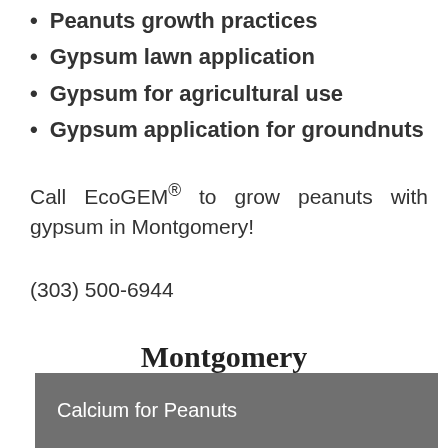Peanuts growth practices
Gypsum lawn application
Gypsum for agricultural use
Gypsum application for groundnuts
Call EcoGEM® to grow peanuts with gypsum in Montgomery!
(303) 500-6944
Montgomery
Calcium for Peanuts